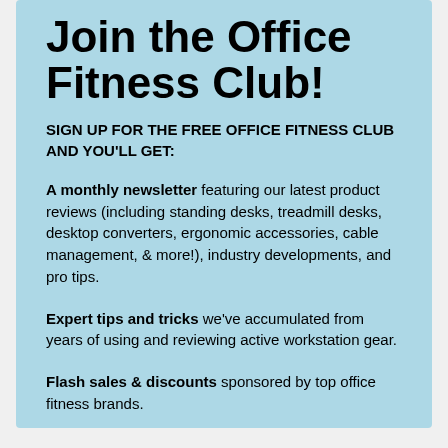Join the Office Fitness Club!
SIGN UP FOR THE FREE OFFICE FITNESS CLUB AND YOU'LL GET:
A monthly newsletter featuring our latest product reviews (including standing desks, treadmill desks, desktop converters, ergonomic accessories, cable management, & more!), industry developments, and pro tips.
Expert tips and tricks we've accumulated from years of using and reviewing active workstation gear.
Flash sales & discounts sponsored by top office fitness brands.